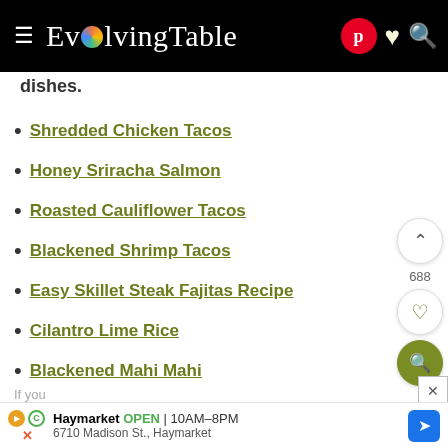EvolvingTable
dishes.
Shredded Chicken Tacos
Honey Sriracha Salmon
Roasted Cauliflower Tacos
Blackened Shrimp Tacos
Easy Skillet Steak Fajitas Recipe
Cilantro Lime Rice
Blackened Mahi Mahi
MORE MANGO RECIPES
If you
[Figure (screenshot): Advertisement banner: Haymarket OPEN 10AM-8PM, 6710 Madison St., Haymarket with navigation arrow]